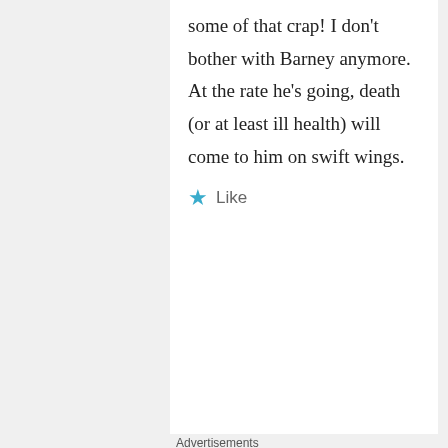some of that crap! I don't bother with Barney anymore. At the rate he's going, death (or at least ill health) will come to him on swift wings.
Like
Advertisements
[Figure (illustration): WordPress.com advertisement banner: blue-purple gradient background, text 'Simplified pricing for everything you need.', pink button 'Build Your Website', price tag illustration, WordPress.com logo at bottom.]